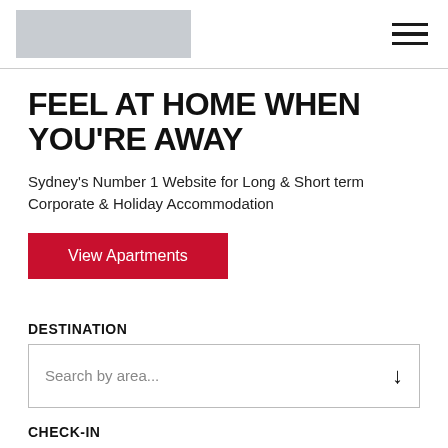[logo placeholder] [hamburger menu]
FEEL AT HOME WHEN YOU'RE AWAY
Sydney's Number 1 Website for Long & Short term Corporate & Holiday Accommodation
View Apartments
DESTINATION
Search by area...
CHECK-IN